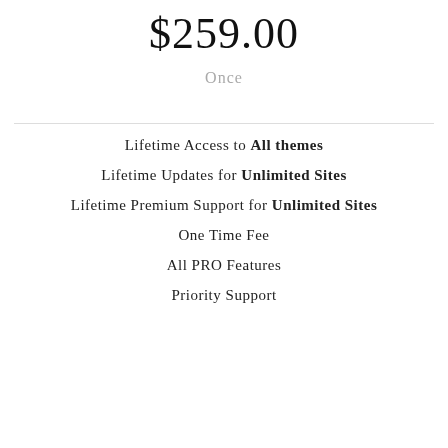$259.00
Once
Lifetime Access to All themes
Lifetime Updates for Unlimited Sites
Lifetime Premium Support for Unlimited Sites
One Time Fee
All PRO Features
Priority Support